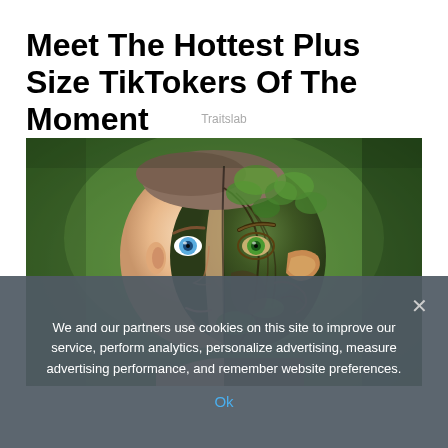Meet The Hottest Plus Size TikTokers Of The Moment
Traitslab
[Figure (photo): Split-face composite photo of a man: the left half shows a normal human face with a blue eye, the right half is transformed into a mossy, bark-textured tree creature face with a green eye, set against a blurred green forest background.]
We and our partners use cookies on this site to improve our service, perform analytics, personalize advertising, measure advertising performance, and remember website preferences.
Ok